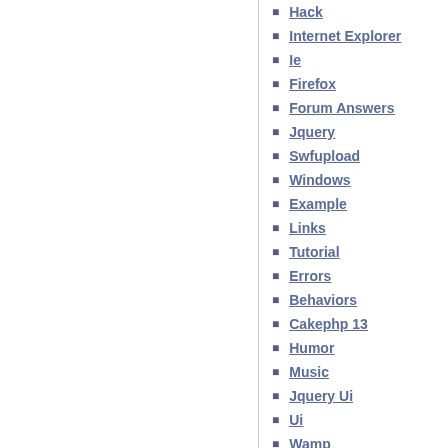Hack
Internet Explorer
Ie
Firefox
Forum Answers
Jquery
Swfupload
Windows
Example
Links
Tutorial
Errors
Behaviors
Cakephp 13
Humor
Music
Jquery Ui
Ui
Wamp